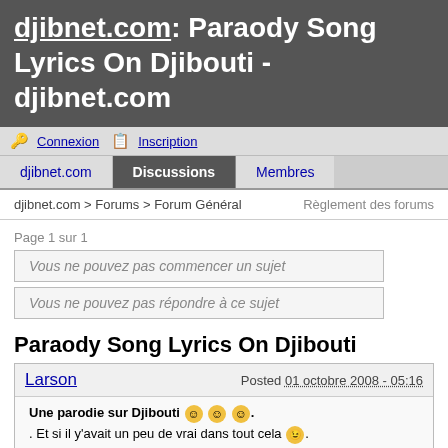djibnet.com: Paraody Song Lyrics On Djibouti - djibnet.com
🔑 Connexion 📋 Inscription
djibnet.com | Discussions | Membres
djibnet.com > Forums > Forum Général     Règlement des forums
Page 1 sur 1
Vous ne pouvez pas commencer un sujet
Vous ne pouvez pas répondre à ce sujet
Paraody Song Lyrics On Djibouti
Larson — Posted 01 octobre 2008 - 05:16
Une parodie sur Djibouti 😊 😊 😊.
. Et si il y'avait un peu de vrai dans tout cela 😉.